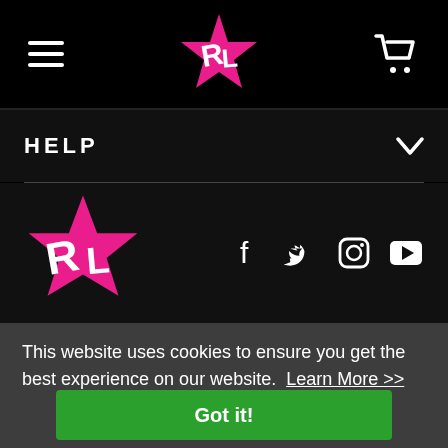[Figure (logo): RL star logo in navigation bar, white R and L letters on pink star]
HELP
[Figure (logo): RL star logo in footer, white R and L letters on pink star, larger version]
[Figure (infographic): Social media icons: Facebook, Twitter, Instagram, YouTube]
This website uses cookies to ensure you get the best experience on our website. Learn More >>
Got it!